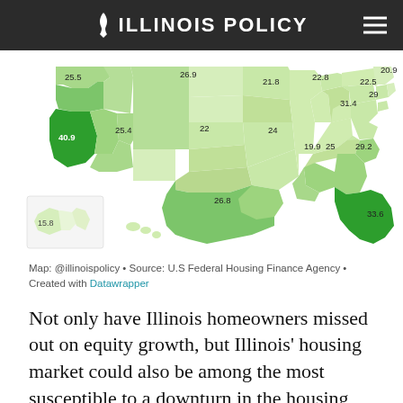ILLINOIS POLICY
[Figure (map): Choropleth map of the United States showing housing equity growth values by state. Values visible: 25.5, 26.9, 21.8, 22.8, 22.5, 20.9, 40.9, 25.4, 22, 24, 31.4, 29, 19.9, 25, 29.2, 26.8, 33.6, 15.8. States shaded in varying greens from light to dark indicating different levels of home equity growth.]
Map: @illinoispolicy • Source: U.S Federal Housing Finance Agency • Created with Datawrapper
Not only have Illinois homeowners missed out on equity growth, but Illinois' housing market could also be among the most susceptible to a downturn in the housing market.
Mortgage rates are ticking up now that the Federal